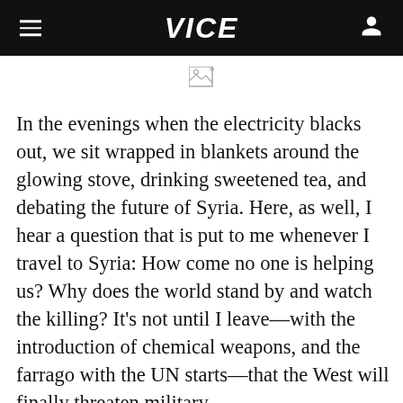VICE
[Figure (other): Broken/missing image placeholder icon]
In the evenings when the electricity blacks out, we sit wrapped in blankets around the glowing stove, drinking sweetened tea, and debating the future of Syria. Here, as well, I hear a question that is put to me whenever I travel to Syria: How come no one is helping us? Why does the world stand by and watch the killing? It's not until I leave—with the introduction of chemical weapons, and the farrago with the UN starts—that the West will finally threaten military